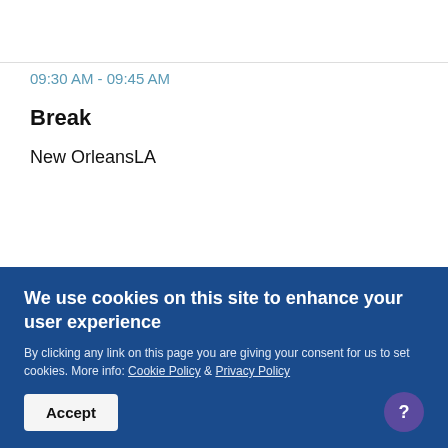09:30 AM - 09:45 AM
Break
New OrleansLA
09:45 AM - 10:45 AM
Demystifying Drug Diversion, A Compliance Professionals Presentation
We use cookies on this site to enhance your user experience
By clicking any link on this page you are giving your consent for us to set cookies. More info: Cookie Policy & Privacy Policy
Accept